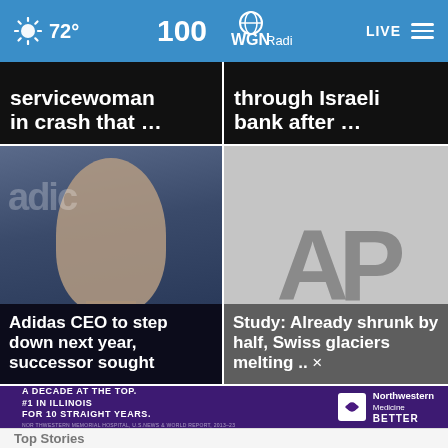72° WGN Radio 100 LIVE
servicewoman in crash that ...
through Israeli bank after ...
[Figure (photo): Photo of Adidas CEO, a man in dark clothing]
Adidas CEO to step down next year, successor sought
[Figure (logo): AP (Associated Press) logo on gray background]
Study: Already shrunk by half, Swiss glaciers melting .. ×
[Figure (infographic): Northwestern Medicine advertisement: A DECADE AT THE TOP. #1 IN ILLINOIS FOR 10 STRAIGHT YEARS. BETTER]
Top Stories